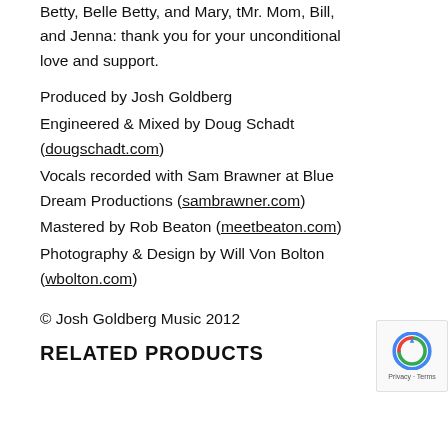Betty, Belle Betty, and Mary, tMr. Mom, Bill, and Jenna: thank you for your unconditional love and support.
Produced by Josh Goldberg
Engineered & Mixed by Doug Schadt (dougschadt.com)
Vocals recorded with Sam Brawner at Blue Dream Productions (sambrawner.com)
Mastered by Rob Beaton (meetbeaton.com)
Photography & Design by Will Von Bolton (wbolton.com)
© Josh Goldberg Music 2012
RELATED PRODUCTS